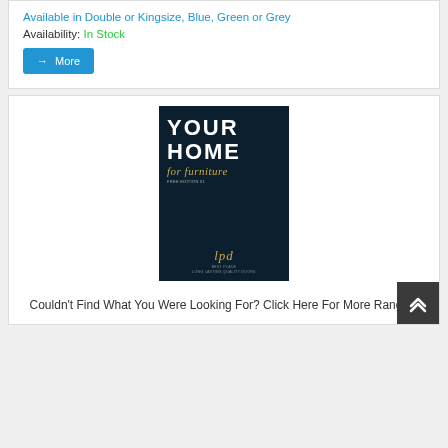Available in Double or Kingsize, Blue, Green or Grey
Availability: In Stock
→ More
[Figure (illustration): Dark navy catalogue cover reading 'YOUR HOME for furniture' with gold script and lpd branding at the bottom]
Couldn't Find What You Were Looking For? Click Here For More Ranges.